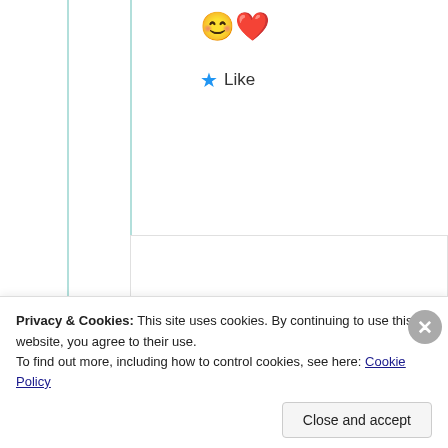[Figure (illustration): Emoji reaction icons: relieved face emoji and red heart emoji]
★ Like
[Figure (illustration): Round avatar with line-art illustration of a woman with flowing hair, text reads 'Roam the World' and 'Global Hiker']
Samridhi Fagnia
30th Jun 2021 at 11:11 am
Hope you will like my
Privacy & Cookies: This site uses cookies. By continuing to use this website, you agree to their use.
To find out more, including how to control cookies, see here: Cookie Policy
Close and accept